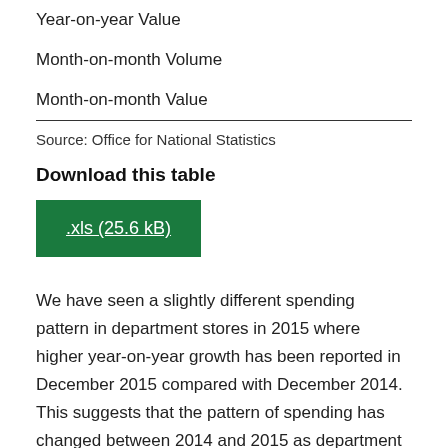Year-on-year Value
Month-on-month Volume
Month-on-month Value
Source: Office for National Statistics
Download this table
.xls (25.6 kB)
We have seen a slightly different spending pattern in department stores in 2015 where higher year-on-year growth has been reported in December 2015 compared with December 2014. This suggests that the pattern of spending has changed between 2014 and 2015 as department stores moved from a one-day